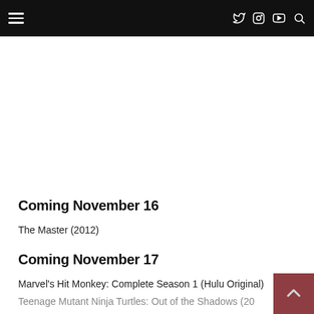Navigation header with hamburger menu and social icons (Twitter, Instagram, YouTube, Search)
Coming November 16
The Master (2012)
Coming November 17
Marvel's Hit Monkey: Complete Season 1 (Hulu Original)
Teenage Mutant Ninja Turtles: Out of the Shadows (20…